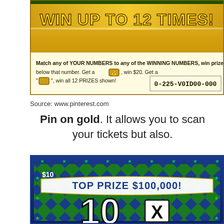[Figure (photo): Lottery scratch ticket showing 'WIN UP TO 12 TIMES!' with golden background and instructions. Serial number 0-225-VOID00-000.]
Source: www.pinterest.com
Pin on gold. It allows you to scan your tickets but also.
[Figure (photo): Lottery scratch ticket showing '$10 TOP PRIZE $100,000!' with green and blue diamond pattern background and large '10X' text.]